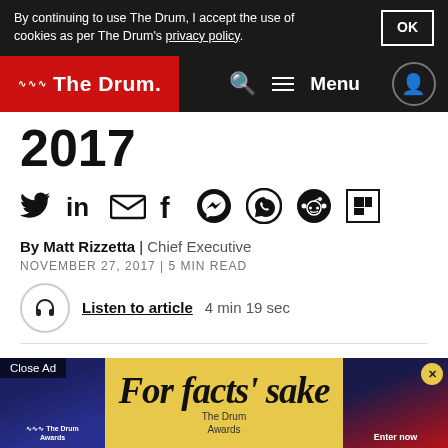By continuing to use The Drum, I accept the use of cookies as per The Drum's privacy policy. OK
The Drum — Menu
2017
[Figure (infographic): Social sharing icons row: Twitter, LinkedIn, Email, Facebook, Messenger, WhatsApp, Reddit, Flipboard]
By Matt Rizzetta | Chief Executive
NOVEMBER 27, 2017 | 5 MIN READ
Listen to article 4 min 19 sec
The photo finish between Uber and United Airlines to be [named] the biggest brand wreck of 2017 is a photo [finish] [winner:] Uber!
[Figure (screenshot): Advertisement overlay: 'For facts' sake' The Drum Awards banner ad with Close Ad button and X dismiss button]